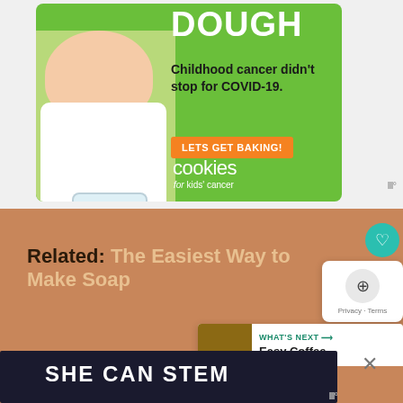[Figure (illustration): Advertisement for 'Cookies for Kids' Cancer' fundraiser. Green background with a smiling girl holding a jar of money. Large white text reads 'DOUGH', with dark text 'Childhood cancer didn't stop for COVID-19.' An orange button says 'LETS GET BAKING!' and the cookies for kids' cancer logo appears at bottom.]
Related: The Easiest Way to Make Soap
Related:
[Figure (illustration): Dark navy background advertisement with bold white text reading 'SHE CAN STEM']